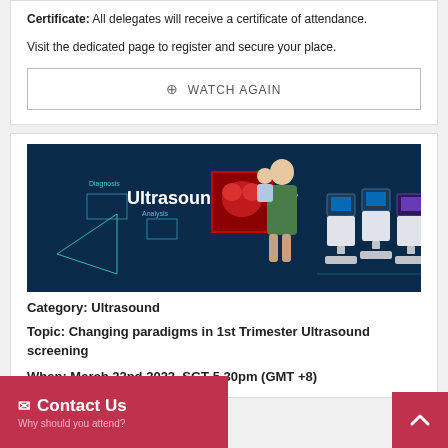Certificate: All delegates will receive a certificate of attendance.
Visit the dedicated page to register and secure your place.
⊕ WATCH AGAIN
[Figure (illustration): Ultrasound Webinar banner showing a woman holding a baby, a fetal heart image, and ultrasound machines on a dark blue background with scan graphics]
Category: Ultrasound
Topic: Changing paradigms in 1st Trimester Ultrasound screening
When: March 22nd 2022, SGT 5.30pm (GMT +8)
Contact Us — Why should you attend?